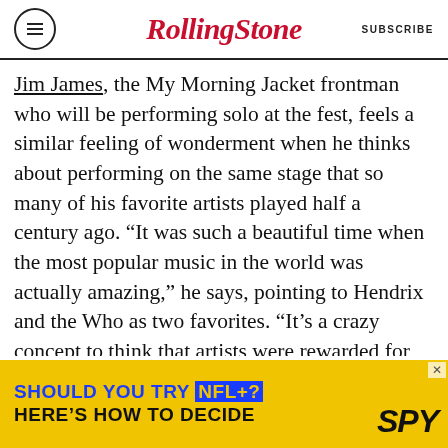Rolling Stone | SUBSCRIBE
Jim James, the My Morning Jacket frontman who will be performing solo at the fest, feels a similar feeling of wonderment when he thinks about performing on the same stage that so many of his favorite artists played half a century ago. “It was such a beautiful time when the most popular music in the world was actually amazing,” he says, pointing to Hendrix and the Who as two favorites. “It’s a crazy concept to think that artists were rewarded for making far-out, insane music that was still accessible. And the legend of Monterey Pop and the competition between the Who and Hendrix made me really excited to play it when they asked.” He says, however, he
[Figure (infographic): Advertisement banner: yellow background with blue and black text reading 'SHOULD YOU TRY NFL+? HERE'S HOW TO DECIDE' and SPY logo on the right]